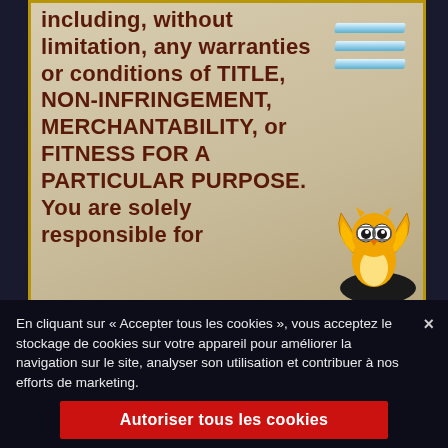including, without limitation, any warranties or conditions of TITLE, NON-INFRINGEMENT, MERCHANTABILITY, or FITNESS FOR A PARTICULAR PURPOSE. You are solely responsible for
[Figure (illustration): Cartoon owl mascot with golden wings, wearing glasses, positioned at bottom-right of the document area]
En cliquant sur « Accepter tous les cookies », vous acceptez le stockage de cookies sur votre appareil pour améliorer la navigation sur le site, analyser son utilisation et contribuer à nos efforts de marketing.
Autoriser tous les cookies